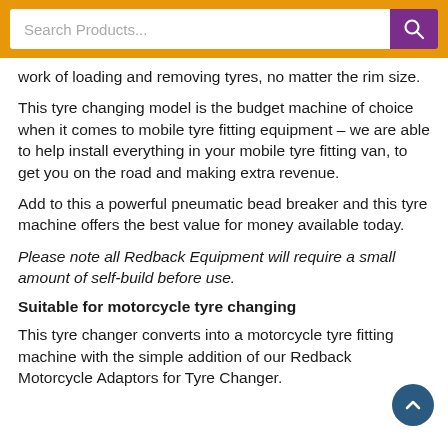Search Products...
work of loading and removing tyres, no matter the rim size.
This tyre changing model is the budget machine of choice when it comes to mobile tyre fitting equipment – we are able to help install everything in your mobile tyre fitting van, to get you on the road and making extra revenue.
Add to this a powerful pneumatic bead breaker and this tyre machine offers the best value for money available today.
Please note all Redback Equipment will require a small amount of self-build before use.
Suitable for motorcycle tyre changing
This tyre changer converts into a motorcycle tyre fitting machine with the simple addition of our Redback Motorcycle Adaptors for Tyre Changer.